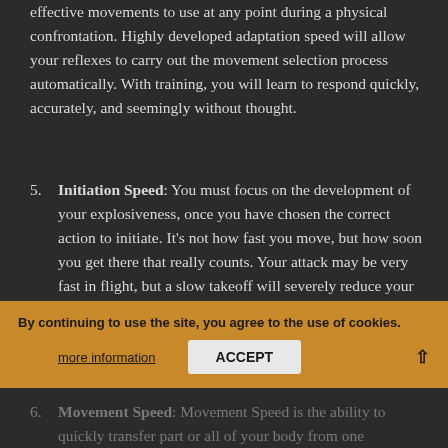effective movements to use at any point during a physical confrontation. Highly developed adaptation speed will allow your reflexes to carry out the movement selection process automatically. With training, you will learn to respond quickly, accurately, and seemingly without thought.
5. Initiation Speed: You must focus on the development of your explosiveness, once you have chosen the correct action to initiate. It's not how fast you move, but how soon you get there that really counts. Your attack may be very fast in flight, but a slow takeoff will severely reduce your chances of effectively landing that attack on target. Train yourself to make your movements felt before they are seen by developing a flawless poker face and the ability to relax at will.
6. Movement Speed: Movement Speed is the ability to quickly transfer part or all of your body from one